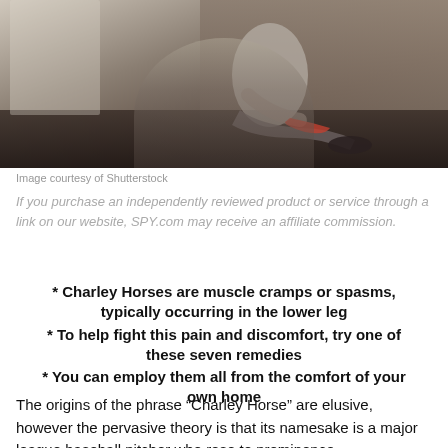[Figure (photo): Person sitting on a dark wooden floor against a brick wall, appears to be stretching or holding their lower leg, wearing athletic clothing and dark shoes.]
Image courtesy of Shutterstock
If you purchase an independently reviewed product or service through a link on our website, SPY.com may receive an affiliate commission.
* Charley Horses are muscle cramps or spasms, typically occurring in the lower leg
* To help fight this pain and discomfort, try one of these seven remedies
* You can employ them all from the comfort of your own home
The origins of the phrase “Charley Horse” are elusive, however the pervasive theory is that its namesake is a major league baseball pitcher who rose to prominence